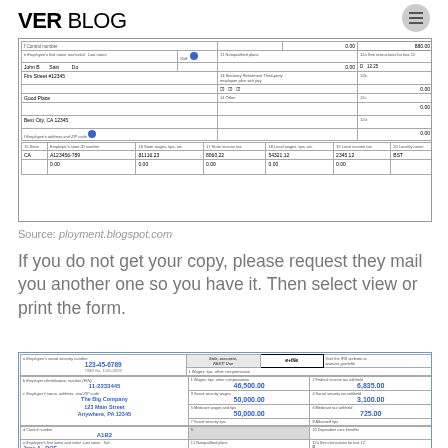VER BLOG
[Figure (screenshot): Partial W-2 tax form showing employee address fields, state/local tax information. Fields visible: employee name (John B Sain), address (Firs Street #12345, Good Place, Best City CA 12345), state CA, employer state ID A123456-789, state wages 81116.23, state income tax 8060.22, local wages 54321.12, local income tax 2345.12, locality name BST]
Source: ployment.blogspot.com
If you do not get your copy, please request they mail you another one so you have it. Then select view or print the form.
[Figure (screenshot): W-2 Wage and Tax Statement form showing: employee SSN 123-45-6789, employer ID 11-2233445, employer The Big Company 123 Main Street Anywhere PA 12345, control number A1B2, employee Jane A DOE 123 Elm Street. Wages 46,500.00, Federal income tax withheld 6,835.00, Social security wages 50,000.00, Social security tax withheld 3,100.00, Medicare wages 50,000.00, Medicare tax withheld 725.00, box 12a D 1,500.00, box 12b DD 1,000.00]